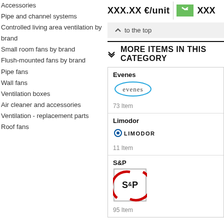Accessories
Pipe and channel systems
Controlled living area ventilation by brand
Small room fans by brand
Flush-mounted fans by brand
Pipe fans
Wall fans
Ventilation boxes
Air cleaner and accessories
Ventilation - replacement parts
Roof fans
XXX.XX €/unit
^ to the top
MORE ITEMS IN THIS CATEGORY
Evenes
73 Item
[Figure (logo): Evenes brand logo - stylized evenes text with oval shape]
Limodor
11 Item
[Figure (logo): Limodor brand logo]
S&P
95 Item
[Figure (logo): S&P brand logo - red arc with S&P text in square border]
^ to the top